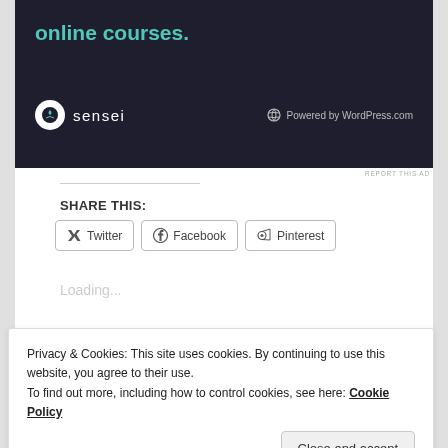[Figure (screenshot): Advertisement banner with dark navy background showing 'online courses.' text in teal, with Sensei logo and 'Powered by WordPress.com' at bottom]
REPORT THIS AD
SHARE THIS:
Twitter
Facebook
Pinterest
Loading...
Privacy & Cookies: This site uses cookies. By continuing to use this website, you agree to their use.
To find out more, including how to control cookies, see here: Cookie Policy